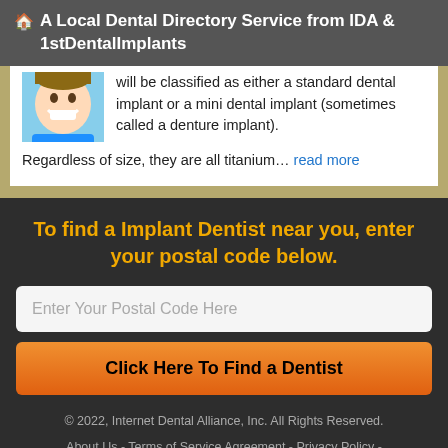🏠 A Local Dental Directory Service from IDA & 1stDentalImplants
will be classified as either a standard dental implant or a mini dental implant (sometimes called a denture implant).
Regardless of size, they are all titanium… read more
To find a Implant Dentist near you, enter your postal code below.
Enter Your Postal Code Here
Click Here To Find a Dentist
© 2022, Internet Dental Alliance, Inc. All Rights Reserved.
About Us - Terms of Service Agreement - Privacy Policy - Accessibility Statement - Doctor Registration